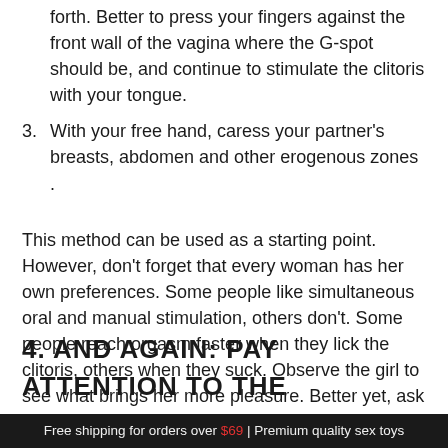forth. Better to press your fingers against the front wall of the vagina where the G-spot should be, and continue to stimulate the clitoris with your tongue.
3. With your free hand, caress your partner's breasts, abdomen and other erogenous zones .
This method can be used as a starting point. However, don't forget that every woman has her own preferences. Some people like simultaneous oral and manual stimulation, others don't. Some people reach orgasm faster when they lick the clitoris, others when they suck. Observe the girl to see what brings her more pleasure. Better yet, ask directly: she's probably in the know.
4. AND AGAIN: PAY ATTENTION TO THE
Free shipping for orders over $69 | Premium quality sex toys